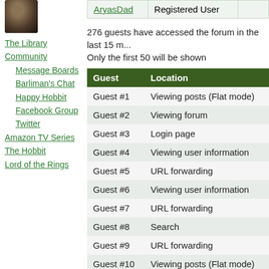The Library
Community
Message Boards
Barliman's Chat
Happy Hobbit
Facebook Group
Twitter
Amazon TV Series
The Hobbit
Lord of the Rings
| AryasDad | Registered User |  |
| --- | --- | --- |
276 guests have accessed the forum in the last 15 minutes: Only the first 50 will be shown
| Guest | Location |
| --- | --- |
| Guest #1 | Viewing posts (Flat mode) |
| Guest #2 | Viewing forum |
| Guest #3 | Login page |
| Guest #4 | Viewing user information |
| Guest #5 | URL forwarding |
| Guest #6 | Viewing user information |
| Guest #7 | URL forwarding |
| Guest #8 | Search |
| Guest #9 | URL forwarding |
| Guest #10 | Viewing posts (Flat mode) |
| Guest #11 | Login page |
| Guest #12 | URL forwarding |
| Guest #13 | Login page |